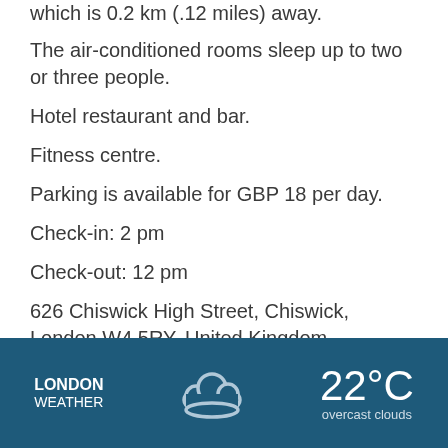which is 0.2 km (.12 miles) away.
The air-conditioned rooms sleep up to two or three people.
Hotel restaurant and bar.
Fitness centre.
Parking is available for GBP 18 per day.
Check-in: 2 pm
Check-out: 12 pm
626 Chiswick High Street, Chiswick, London W4 5RY, United Kingdom
[Figure (infographic): Weather widget showing London Weather, a cloud icon, 22°C temperature, and 'overcast clouds' description on a dark blue background.]